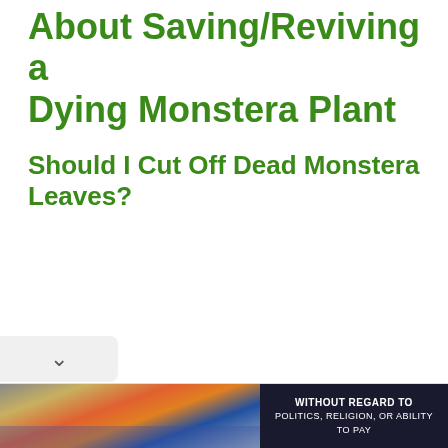About Saving/Reviving a Dying Monstera Plant
Should I Cut Off Dead Monstera Leaves?
[Figure (photo): Advertisement banner at the bottom of the page showing an airplane being loaded with cargo, with text overlay reading 'WITHOUT REGARD TO POLITICS, RELIGION, OR ABILITY TO PAY']